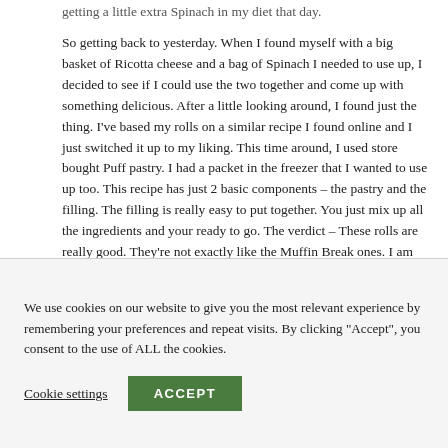getting a little extra Spinach in my diet that day.
So getting back to yesterday. When I found myself with a big basket of Ricotta cheese and a bag of Spinach I needed to use up, I decided to see if I could use the two together and come up with something delicious. After a little looking around, I found just the thing. I've based my rolls on a similar recipe I found online and I just switched it up to my liking. This time around, I used store bought Puff pastry. I had a packet in the freezer that I wanted to use up too. This recipe has just 2 basic components – the pastry and the filling. The filling is really easy to put together. You just mix up all the ingredients and your ready to go. The verdict – These rolls are really good. They're not exactly like the Muffin Break ones. I am now convinced that there is some flour added to their filling, possibly to bulk it up. But these homemade
We use cookies on our website to give you the most relevant experience by remembering your preferences and repeat visits. By clicking "Accept", you consent to the use of ALL the cookies.
Cookie settings
ACCEPT